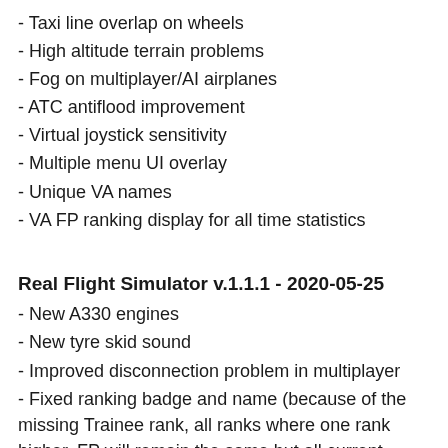- Taxi line overlap on wheels
- High altitude terrain problems
- Fog on multiplayer/AI airplanes
- ATC antiflood improvement
- Virtual joystick sensitivity
- Multiple menu UI overlay
- Unique VA names
- VA FP ranking display for all time statistics
Real Flight Simulator v.1.1.1 - 2020-05-25
- New A330 engines
- New tyre skid sound
- Improved disconnection problem in multiplayer
- Fixed ranking badge and name (because of the missing Trainee rank, all ranks where one rank higher. FP will remain the same but all current ranks have been downgraded by one rank)